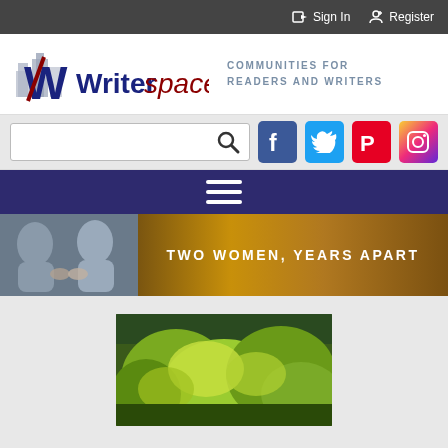Sign In  Register
[Figure (logo): Writerspace logo with stylized W and buildings icon, tagline: COMMUNITIES FOR READERS AND WRITERS]
[Figure (screenshot): Search bar with magnifying glass icon, followed by Facebook, Twitter, Pinterest, and Instagram social media icon buttons]
[Figure (infographic): Dark navy navigation bar with hamburger menu icon (three white horizontal lines)]
[Figure (photo): Banner image: left side shows two people sitting with hands clasped, right golden-brown side reads TWO WOMEN, YEARS APART]
[Figure (photo): Partial view of a lush green garden/nature scene with bright yellow-green foliage]